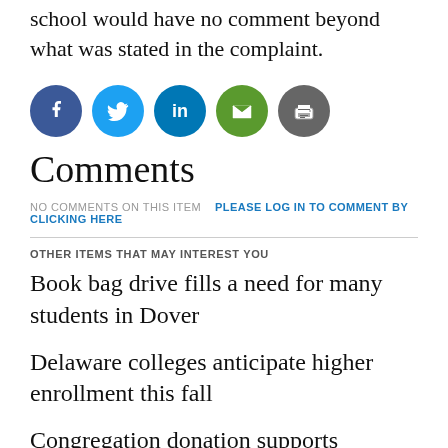school would have no comment beyond what was stated in the complaint.
[Figure (other): Social media sharing icons: Facebook (blue circle), Twitter (light blue circle), LinkedIn (dark blue circle), Email (green circle), Print (gray circle)]
Comments
NO COMMENTS ON THIS ITEM   PLEASE LOG IN TO COMMENT BY CLICKING HERE
OTHER ITEMS THAT MAY INTEREST YOU
Book bag drive fills a need for many students in Dover
Delaware colleges anticipate higher enrollment this fall
Congregation donation supports Clothing Our Kids' mission